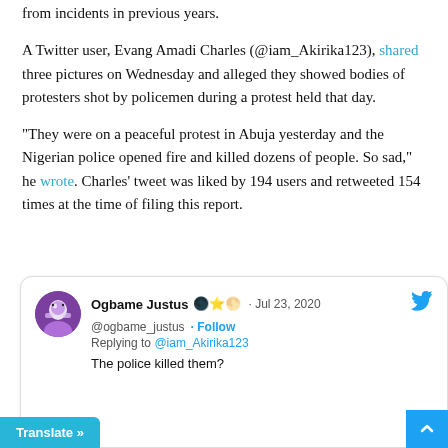from incidents in previous years.
A Twitter user, Evang Amadi Charles (@iam_Akirika123), shared three pictures on Wednesday and alleged they showed bodies of protesters shot by policemen during a protest held that day.
“They were on a peaceful protest in Abuja yesterday and the Nigerian police opened fire and killed dozens of people. So sad,” he wrote. Charles’ tweet was liked by 194 users and retweeted 154 times at the time of filing this report.
[Figure (screenshot): Screenshot of a tweet by Ogbame Justus (@ogbame_justus) dated Jul 23, 2020, replying to @iam_Akirika123. Text: 'The police killed them?']